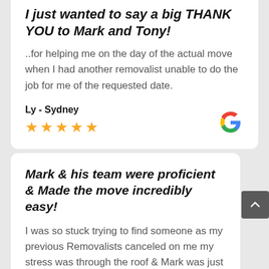I just wanted to say a big THANK YOU to Mark and Tony!
..for helping me on the day of the actual move when I had another removalist unable to do the job for me of the requested date.
Ly - Sydney
[Figure (other): Five gold star rating icons]
[Figure (logo): Google G logo]
Mark & his team were proficient & Made the move incredibly easy!
I was so stuck trying to find someone as my previous Removalists canceled on me my stress was through the roof & Mark was just outstanding!